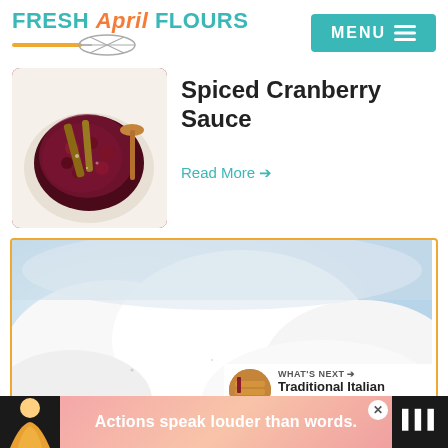Fresh April Flours — MENU
[Figure (photo): Bowl of spiced cranberry sauce with cinnamon sticks and wooden spoon, viewed from above on white background]
Spiced Cranberry Sauce
Read More →
[Figure (photo): Light blue and white blurred background image showing a creamy white dessert or topping]
WHAT'S NEXT → Traditional Italian Anise...
Actions speak louder than words.